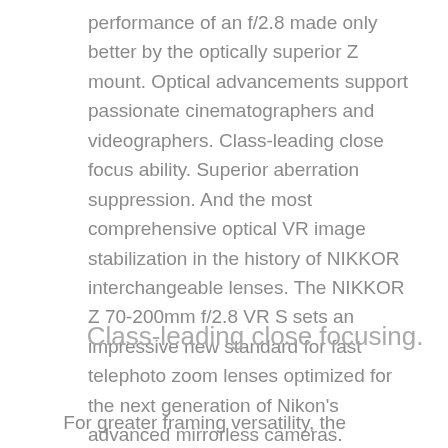performance of an f/2.8 made only better by the optically superior Z mount. Optical advancements support passionate cinematographers and videographers. Class-leading close focus ability. Superior aberration suppression. And the most comprehensive optical VR image stabilization in the history of NIKKOR interchangeable lenses. The NIKKOR Z 70-200mm f/2.8 VR S sets an impressive new standard for fast telephoto zoom lenses optimized for the next generation of Nikon's advanced mirrorless cameras.
Class-leading close focusing.
For greater framing versatility, the